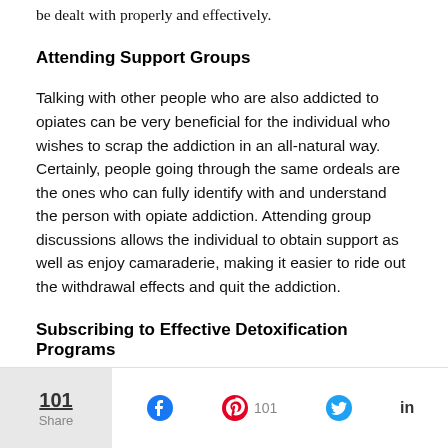be dealt with properly and effectively.
Attending Support Groups
Talking with other people who are also addicted to opiates can be very beneficial for the individual who wishes to scrap the addiction in an all-natural way. Certainly, people going through the same ordeals are the ones who can fully identify with and understand the person with opiate addiction. Attending group discussions allows the individual to obtain support as well as enjoy camaraderie, making it easier to ride out the withdrawal effects and quit the addiction.
Subscribing to Effective Detoxification Programs
101 Share | Facebook | Pinterest 101 | Twitter | LinkedIn